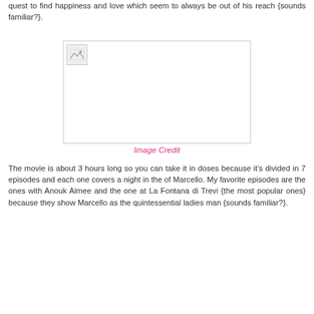quest to find happiness and love which seem to always be out of his reach {sounds familiar?}.
[Figure (photo): A broken/missing image placeholder with border, representing a photo that failed to load.]
Image Credit
The movie is about 3 hours long so you can take it in doses because it's divided in 7 episodes and each one covers a night in the of Marcello. My favorite episodes are the ones with Anouk Aimee and the one at La Fontana di Trevi {the most popular ones} because they show Marcello as the quintessential ladies man {sounds familiar?}.